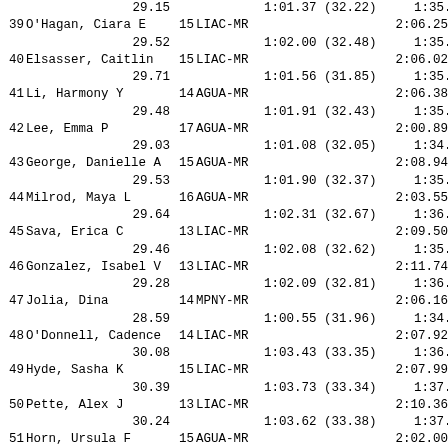| Place | Name | Age | Team | Final Time |
| --- | --- | --- | --- | --- |
|  |  |  |  | 29.15 | 1:01.37 (32.22) | 1:35.07 |
| 39 | O'Hagan, Ciara E | 15 | LIAC-MR |  |  | 2:06.25 |
|  |  |  |  | 29.52 | 1:02.00 (32.48) | 1:35.31 |
| 40 | Elsasser, Caitlin | 15 | LIAC-MR |  |  | 2:06.02 |
|  |  |  |  | 29.71 | 1:01.56 (31.85) | 1:35.00 |
| 41 | Li, Harmony Y | 14 | AGUA-MR |  |  | 2:06.38 |
|  |  |  |  | 29.48 | 1:01.91 (32.43) | 1:35.52 |
| 42 | Lee, Emma P | 17 | AGUA-MR |  |  | 2:00.89 |
|  |  |  |  | 29.03 | 1:01.08 (32.05) | 1:34.26 |
| 43 | George, Danielle A | 15 | AGUA-MR |  |  | 2:08.94 |
|  |  |  |  | 29.53 | 1:01.90 (32.37) | 1:35.33 |
| 44 | Milrod, Maya L | 16 | AGUA-MR |  |  | 2:03.55 |
|  |  |  |  | 29.64 | 1:02.31 (32.67) | 1:36.11 |
| 45 | Sava, Erica C | 13 | LIAC-MR |  |  | 2:09.50 |
|  |  |  |  | 29.46 | 1:02.08 (32.62) | 1:35.90 |
| 46 | Gonzalez, Isabel V | 13 | LIAC-MR |  |  | 2:11.74 |
|  |  |  |  | 29.28 | 1:02.09 (32.81) | 1:36.32 |
| 47 | Jolia, Dina | 14 | MPNY-MR |  |  | 2:06.16 |
|  |  |  |  | 28.59 | 1:00.55 (31.96) | 1:34.20 |
| 48 | O'Donnell, Cadence | 14 | LIAC-MR |  |  | 2:07.92 |
|  |  |  |  | 30.08 | 1:03.43 (33.35) | 1:36.88 |
| 49 | Hyde, Sasha K | 15 | LIAC-MR |  |  | 2:07.99 |
|  |  |  |  | 30.39 | 1:03.73 (33.34) | 1:37.35 |
| 50 | Pette, Alex J | 13 | LIAC-MR |  |  | 2:10.36 |
|  |  |  |  | 30.24 | 1:03.62 (33.38) | 1:37.39 |
| 51 | Horn, Ursula F | 15 | AGUA-MR |  |  | 2:02.00 |
|  |  |  |  | 30.83 | 1:04.64 (33.81) | 1:38.59 |
| 52 | Greenberg, Abigail | 13 | AGUA-MR |  |  | 2:07.50 |
|  |  |  |  | 29.43 | 1:02.28 (32.85) | 1:36.85 |
| 53 | Olivieri, Olivia | 15 | FREE-MR |  |  | 2:09.84 |